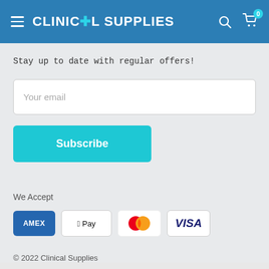CLINICAL SUPPLIES
Stay up to date with regular offers!
Your email
Subscribe
We Accept
[Figure (logo): Payment method logos: American Express (AMEX), Apple Pay, Mastercard, Visa]
© 2022 Clinical Supplies